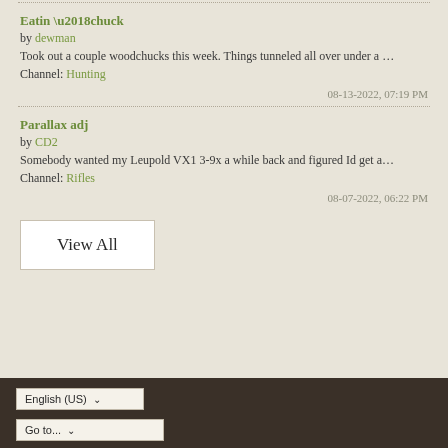Eatin ‘chuck
by dewman
Took out a couple woodchucks this week. Things tunneled all over under a …
Channel: Hunting
08-13-2022, 07:19 PM
Parallax adj
by CD2
Somebody wanted my Leupold VX1 3-9x a while back and figured Id get a…
Channel: Rifles
08-07-2022, 06:22 PM
View All
English (US) ∨ Go to... ∨